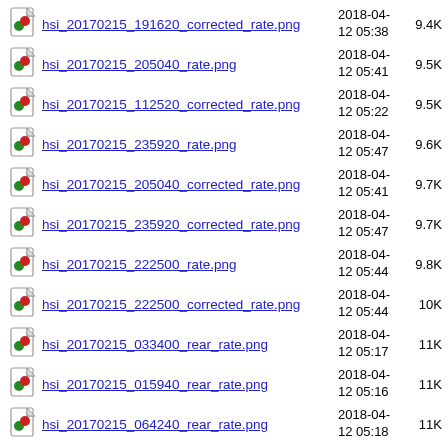hsi_20170215_191620_corrected_rate.png  2018-04-12 05:38  9.4K
hsi_20170215_205040_rate.png  2018-04-12 05:41  9.5K
hsi_20170215_112520_corrected_rate.png  2018-04-12 05:22  9.5K
hsi_20170215_235920_rate.png  2018-04-12 05:47  9.6K
hsi_20170215_205040_corrected_rate.png  2018-04-12 05:41  9.7K
hsi_20170215_235920_corrected_rate.png  2018-04-12 05:47  9.7K
hsi_20170215_222500_rate.png  2018-04-12 05:44  9.8K
hsi_20170215_222500_corrected_rate.png  2018-04-12 05:44  10K
hsi_20170215_033400_rear_rate.png  2018-04-12 05:17  11K
hsi_20170215_015940_rear_rate.png  2018-04-12 05:16  11K
hsi_20170215_064240_rear_rate.png  2018-04-12 05:18  11K